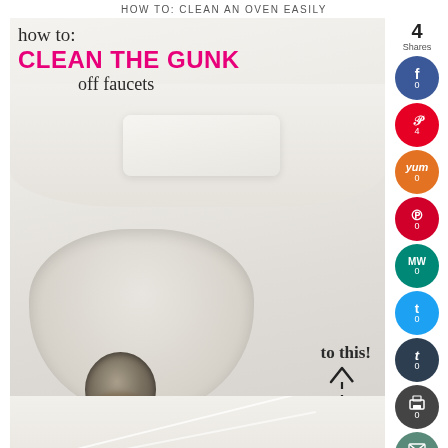HOW TO: CLEAN AN OVEN EASILY
[Figure (photo): Photo of a white porcelain sink/faucet area showing gunk and buildup around the drain, with overlaid text 'how to: CLEAN THE GUNK off faucets' and 'to this!' with a dashed arrow pointing down]
[Figure (infographic): Social sharing sidebar with share count 4, buttons for Facebook (0), Pinterest (4), Yummly (0), Pocketful of Moxie (0), MW (0), Twitter (0), Tumblr (0), Print (0), Email (0)]